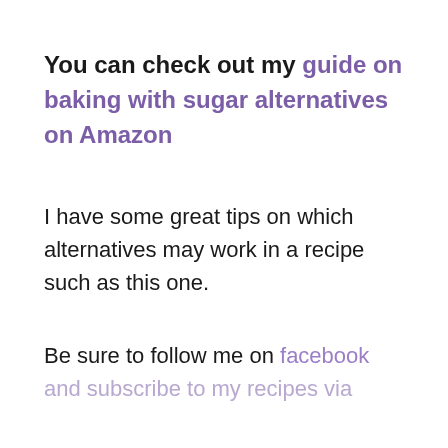You can check out my guide on baking with sugar alternatives on Amazon
I have some great tips on which alternatives may work in a recipe such as this one.
Be sure to follow me on facebook and subscribe to my recipes via